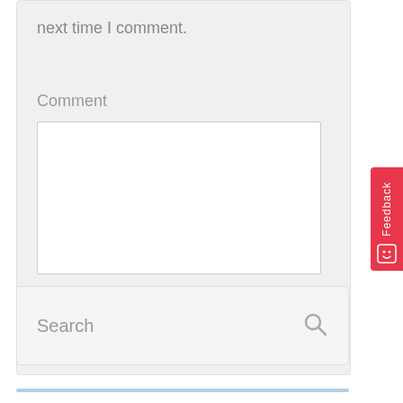next time I comment.
Comment
[Figure (screenshot): Empty comment textarea input box with resize handle]
[Figure (screenshot): Post Comment button, dark navy blue rounded rectangle]
Search
[Figure (screenshot): Search icon (magnifying glass)]
[Figure (screenshot): Feedback tab on right side, red background with vertical Feedback text and smiley icon]